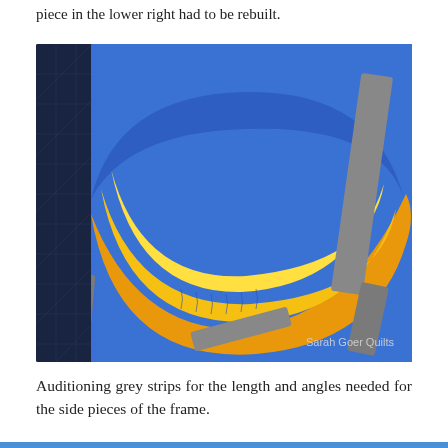piece in the lower right had to be rebuilt.
[Figure (photo): Quilt block on a cutting mat showing a crescent/arc shape made of yellow, golden-orange fabric on a royal blue background, with grey fabric strips laid around the edges auditioning frame piece angles. Watermark reads 'Sarah Goer Quilts'.]
Auditioning grey strips for the length and angles needed for the side pieces of the frame.